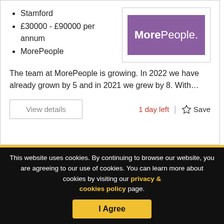Stamford
£30000 - £90000 per annum
MorePeople
[Figure (logo): MorePeople logo: white text on purple/violet background rectangle]
The team at MorePeople is growing. In 2022 we have already grown by 5 and in 2021 we grew by 8. With…
View details
1 day left | ☆ Save
This website uses cookies. By continuing to browse our website, you are agreeing to our use of cookies. You can learn more about cookies by visiting our privacy & cookies policy page.
I Agree